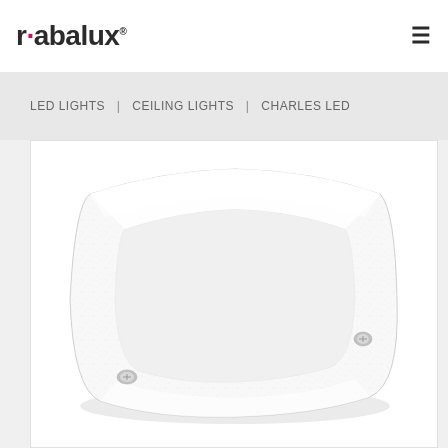rabalux
LED LIGHTS | CEILING LIGHTS | CHARLES LED
[Figure (photo): Product photo of a square ceiling LED light fixture (Charles LED) with frosted/textured glass panel and chrome mounting screws, shown from an angled perspective on white background]